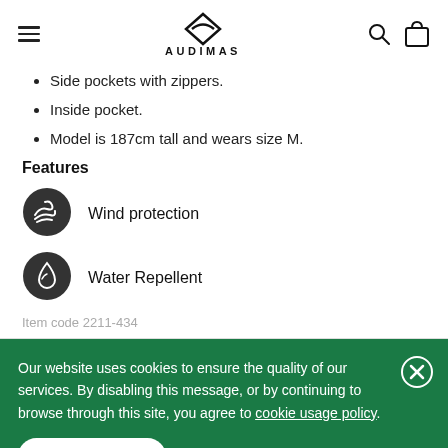AUDIMAS
Side pockets with zippers.
Inside pocket.
Model is 187cm tall and wears size M.
Features
[Figure (infographic): Dark circular icon with wind protection symbol]
Wind protection
[Figure (infographic): Dark circular icon with water repellent drop symbol]
Water Repellent
Item code 2211-434
Our website uses cookies to ensure the quality of our services. By disabling this message, or by continuing to browse through this site, you agree to cookie usage policy.
I agree